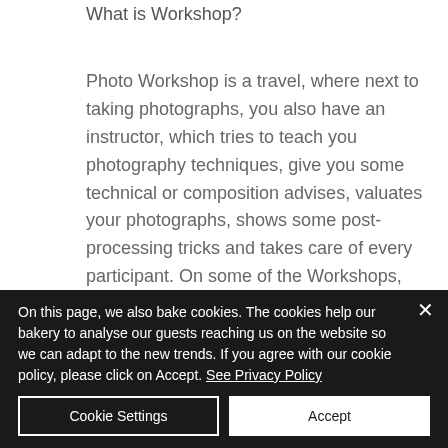What is Workshop?
Photo Workshop is a travel, where next to taking photographs, you also have an instructor, which tries to teach you photography techniques, give you some technical or composition advises, valuates your photographs, shows some post-processing tricks and takes care of every participant. On some of the Workshops, you can also test or borrow
On this page, we also bake cookies. The cookies help our bakery to analyse our guests reaching us on the website so we can adapt to the new trends. If you agree with our cookie policy, please click on Accept. See Privacy Policy
Cookie Settings
Accept